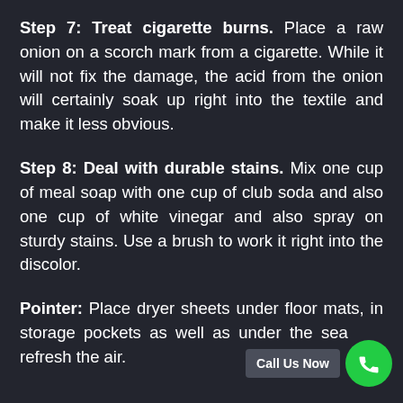Step 7: Treat cigarette burns. Place a raw onion on a scorch mark from a cigarette. While it will not fix the damage, the acid from the onion will certainly soak up right into the textile and make it less obvious.
Step 8: Deal with durable stains. Mix one cup of meal soap with one cup of club soda and also one cup of white vinegar and also spray on sturdy stains. Use a brush to work it right into the discolor.
Pointer: Place dryer sheets under floor mats, in storage pockets as well as under the seats to refresh the air.